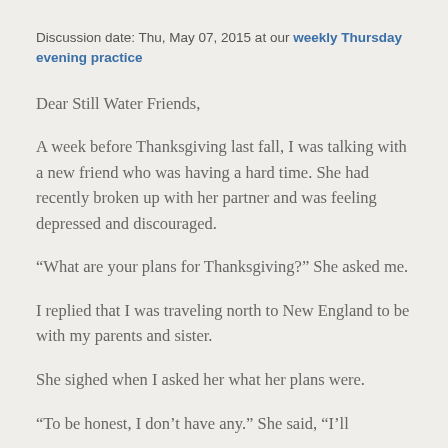Discussion date: Thu, May 07, 2015 at our weekly Thursday evening practice
Dear Still Water Friends,
A week before Thanksgiving last fall, I was talking with a new friend who was having a hard time. She had recently broken up with her partner and was feeling depressed and discouraged.
“What are your plans for Thanksgiving?” She asked me.
I replied that I was traveling north to New England to be with my parents and sister.
She sighed when I asked her what her plans were.
“To be honest, I don’t have any.” She said, “I’ll